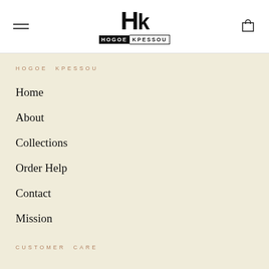HOGOE KPESSOU navigation header with hamburger menu and cart icon
HOGOE KPESSOU
Home
About
Collections
Order Help
Contact
Mission
CUSTOMER CARE